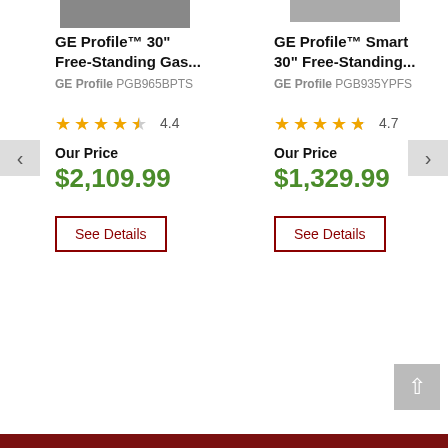[Figure (screenshot): Gray product image placeholder for left product]
[Figure (screenshot): Gray product image placeholder for right product]
GE Profile™ 30" Free-Standing Gas...
GE Profile PGB965BPTS
★★★★☆ 4.4
Our Price
$2,109.99
See Details
GE Profile™ Smart 30" Free-Standing...
GE Profile PGB935YPFS
★★★★☆ 4.7
Our Price
$1,329.99
See Details